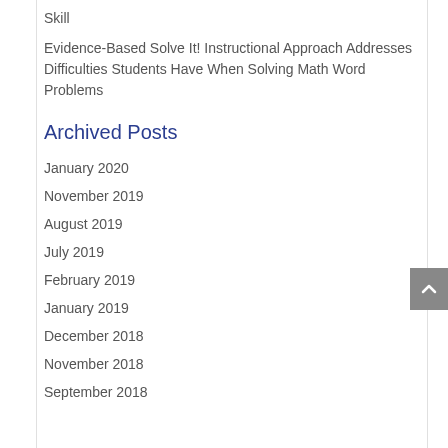Skill
Evidence-Based Solve It! Instructional Approach Addresses Difficulties Students Have When Solving Math Word Problems
Archived Posts
January 2020
November 2019
August 2019
July 2019
February 2019
January 2019
December 2018
November 2018
September 2018